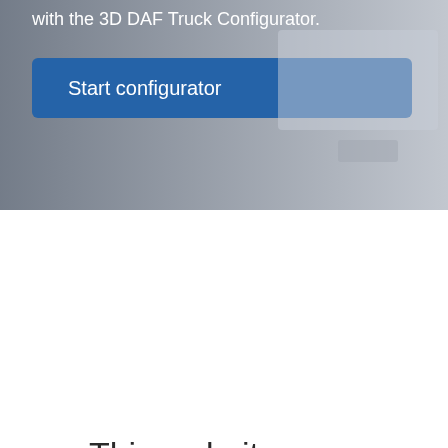[Figure (screenshot): Top section showing partial DAF Truck Configurator webpage with a blurred/greyed-out truck image in the background]
with the 3D DAF Truck Configurator.
Start configurator
This website uses cookies
We use cookies for a variety of purposes, such as website functionality and helping target our marketing activities. Some cookies are essential, others help us improve your experience by providing insights into how the site is used. For more information, please visit our Cookie Notice.
Accept all
Change settings